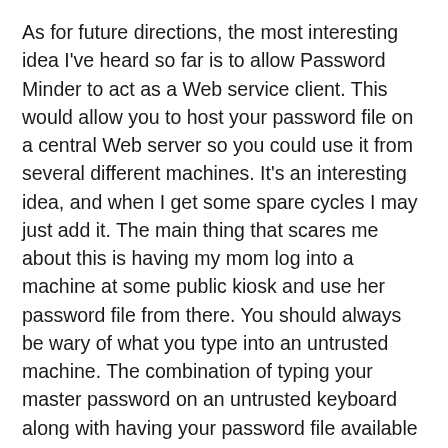As for future directions, the most interesting idea I've heard so far is to allow Password Minder to act as a Web service client. This would allow you to host your password file on a central Web server so you could use it from several different machines. It's an interesting idea, and when I get some spare cycles I may just add it. The main thing that scares me about this is having my mom log into a machine at some public kiosk and use her password file from there. You should always be wary of what you type into an untrusted machine. The combination of typing your master password on an untrusted keyboard along with having your password file available on a Web share gives me the heebie jeebies. This is not a feature I would enable by default!
A simpler feature that I'm working on right now is tracking usage for each record. By tracking how often a password is used, I can sort the list to bring the most heavily used passwords to the top. When you've got as many passwords